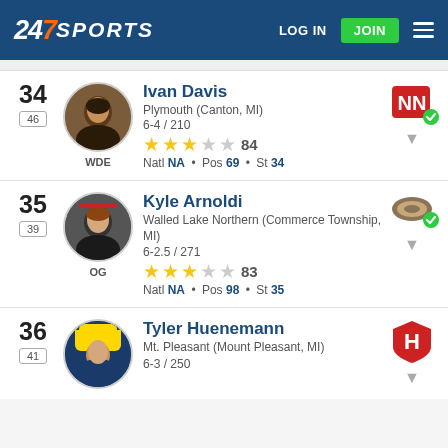247SPORTS | LOG IN | JOIN
34 | 46 | Ivan Davis | Plymouth (Canton, MI) | 6-4 / 210 | 84 | WDE | Natl NA • Pos 69 • St 34
35 | 39 | Kyle Arnoldi | Walled Lake Northern (Commerce Township, MI) | 6-2.5 / 271 | 83 | OG | Natl NA • Pos 98 • St 35
36 | 41 | Tyler Huenemann | Mt. Pleasant (Mount Pleasant, MI) | 6-3 / 250